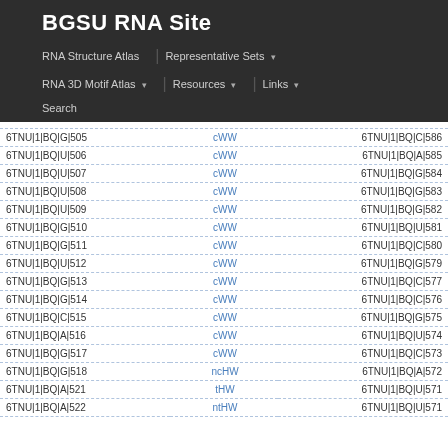BGSU RNA Site
RNA Structure Atlas | Representative Sets ▾ | RNA 3D Motif Atlas ▾ | Resources ▾ | Links ▾ | Search
| Residue 1 | Interaction | Residue 2 |
| --- | --- | --- |
| 6TNU|1|BQ|G|505 | cWW | 6TNU|1|BQ|C|586 |
| 6TNU|1|BQ|U|506 | cWW | 6TNU|1|BQ|A|585 |
| 6TNU|1|BQ|U|507 | cWW | 6TNU|1|BQ|G|584 |
| 6TNU|1|BQ|U|508 | cWW | 6TNU|1|BQ|G|583 |
| 6TNU|1|BQ|U|509 | cWW | 6TNU|1|BQ|G|582 |
| 6TNU|1|BQ|G|510 | cWW | 6TNU|1|BQ|U|581 |
| 6TNU|1|BQ|G|511 | cWW | 6TNU|1|BQ|C|580 |
| 6TNU|1|BQ|U|512 | cWW | 6TNU|1|BQ|G|579 |
| 6TNU|1|BQ|G|513 | cWW | 6TNU|1|BQ|C|577 |
| 6TNU|1|BQ|G|514 | cWW | 6TNU|1|BQ|C|576 |
| 6TNU|1|BQ|C|515 | cWW | 6TNU|1|BQ|G|575 |
| 6TNU|1|BQ|A|516 | cWW | 6TNU|1|BQ|U|574 |
| 6TNU|1|BQ|G|517 | cWW | 6TNU|1|BQ|C|573 |
| 6TNU|1|BQ|G|518 | ncHW | 6TNU|1|BQ|A|572 |
| 6TNU|1|BQ|A|521 | tHW | 6TNU|1|BQ|U|571 |
| 6TNU|1|BQ|A|522 | ntHW | 6TNU|1|BQ|U|571 |